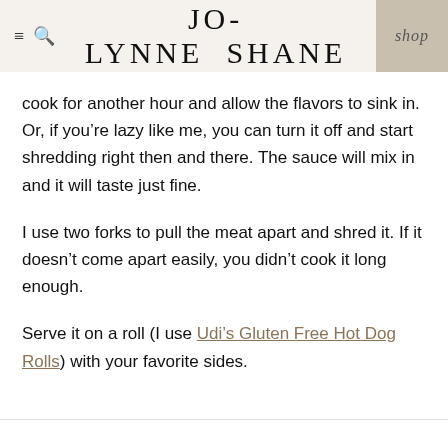JO-LYNNE SHANE | shop
cook for another hour and allow the flavors to sink in. Or, if you’re lazy like me, you can turn it off and start shredding right then and there. The sauce will mix in and it will taste just fine.
I use two forks to pull the meat apart and shred it. If it doesn’t come apart easily, you didn’t cook it long enough.
Serve it on a roll (I use Udi’s Gluten Free Hot Dog Rolls) with your favorite sides.